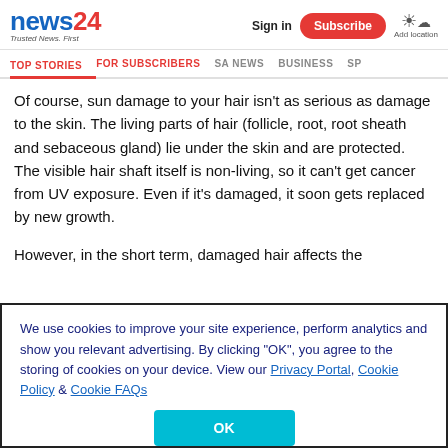news24 - Trusted News. First | Sign in | Subscribe | Add location
TOP STORIES | FOR SUBSCRIBERS | SA NEWS | BUSINESS | SP
Of course, sun damage to your hair isn’t as serious as damage to the skin. The living parts of hair (follicle, root, root sheath and sebaceous gland) lie under the skin and are protected. The visible hair shaft itself is non-living, so it can’t get cancer from UV exposure. Even if it’s damaged, it soon gets replaced by new growth.
However, in the short term, damaged hair affects the
We use cookies to improve your site experience, perform analytics and show you relevant advertising. By clicking “OK”, you agree to the storing of cookies on your device. View our Privacy Portal, Cookie Policy & Cookie FAQs
OK